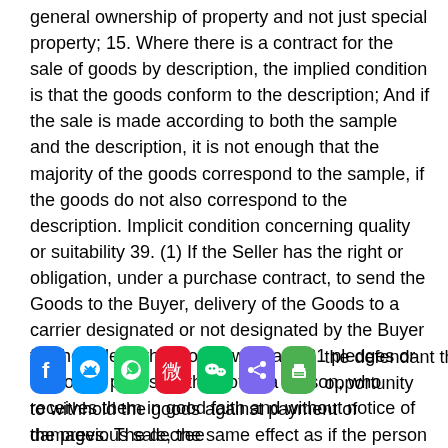general ownership of property and not just special property; 15. Where there is a contract for the sale of goods by description, the implied condition is that the goods conform to the description; And if the sale is made according to both the sample and the description, it is not enough that the majority of the goods correspond to the sample, if the goods do not also correspond to the description. Implicit condition concerning quality or suitability 39. (1) If the Seller has the right or obligation, under a purchase contract, to send the Goods to the Buyer, delivery of the Goods to a carrier designated or not designated by the Buyer for the sale of the Goods will have 21 pledges or any other provision thereof to a person, who receives them in good faith and without notice of the previous sale, the same effect as if the person making the delivery or transfer had been expressly authorized by the owner of the goods to do the same. 58. Subject to Chapter II of the Specific Reparations Act 1950 [Act 137], in any action for failure to obtain certain or established property, the court may, at the request of the plaintiff, determine directly by its order that the contract must be
[Figure (other): Social media sharing icons bar: Facebook, Messenger, WhatsApp, Weibo, WeChat, Share, Print]
the defendant the opportunity to withhold the goods against payment of damages. The decree